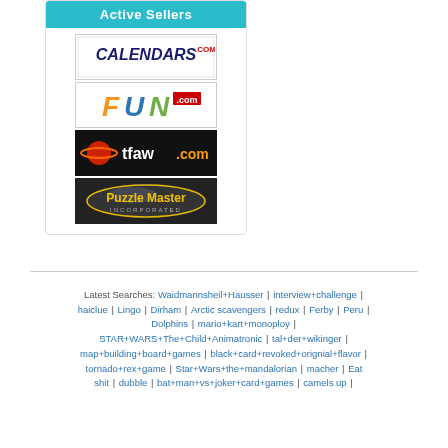Active Sellers
[Figure (logo): Calendars.com logo - blue text with red .com superscript]
[Figure (logo): FUN.com logo - colorful letters orange F, blue U, green N with red .com superscript]
[Figure (logo): tfaw.com logo - white text on black background with planet graphic]
[Figure (logo): Puzzle Master Incorporated logo - gold text on dark oval background]
Latest Searches: Waidmannsheil+Hausser | interview+challenge | haiclue | Lingo | Dirham | Arctic scavengers | redux | Ferby | Peru | Dolphins | mario+kart+monoploy | STAR+WARS+The+Child+Animatronic | tal+der+wikinger | map+building+board+games | black+card+revoked+orignial+flavor | tornado+rex+game | Star+Wars+the+mandalorian | macher | Eat shit | dubble | bat+man+vs+joker+card+games | camels up |